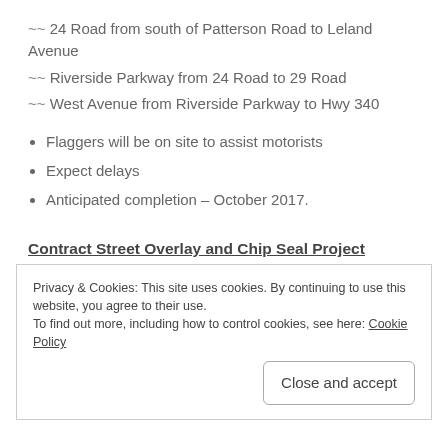~~ 24 Road from south of Patterson Road to Leland Avenue
~~ Riverside Parkway from 24 Road to 29 Road
~~ West Avenue from Riverside Parkway to Hwy 340
Flaggers will be on site to assist motorists
Expect delays
Anticipated completion – October 2017.
Contract Street Overlay and Chip Seal Project (daylight hours)
Privacy & Cookies: This site uses cookies. By continuing to use this website, you agree to their use.
To find out more, including how to control cookies, see here: Cookie Policy
Close and accept